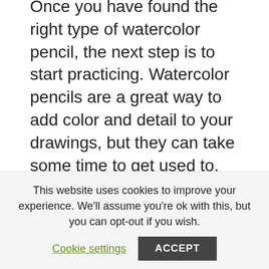Once you have found the right type of watercolor pencil, the next step is to start practicing. Watercolor pencils are a great way to add color and detail to your drawings, but they can take some time to get used to. Practice using your watercolor pencils on scrap paper until you feel comfortable using them.
Once you feel confident with your watercolor pencils, start exploring different techniques. Experiment with different ways of applying color, and see what kinds of results you can
This website uses cookies to improve your experience. We'll assume you're ok with this, but you can opt-out if you wish.
Cookie settings
ACCEPT